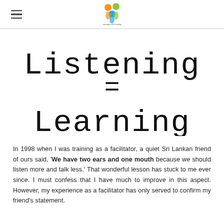[Logo and hamburger menu]
Listening = Learning
In 1998 when I was training as a facilitator, a quiet Sri Lankan friend of ours said, 'We have two ears and one mouth because we should listen more and talk less.' That wonderful lesson has stuck to me ever since. I must confess that I have much to improve in this aspect. However, my experience as a facilitator has only served to confirm my friend's statement.